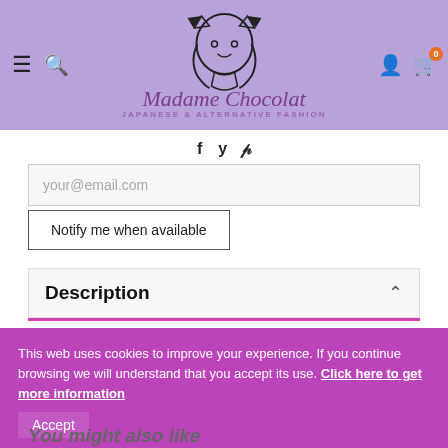Madame Chocolat — JAPANESE & ALTERNATIVE FASHION
[Figure (logo): Madame Chocolat logo with anime girl illustration, purple text logo and subtitle 'JAPANESE & ALTERNATIVE FASHION']
f  y  p
your@email.com
Notify me when available
Description
Measurements information in CM:
This web uses cookies to improve your experience. If you continue browsing we will understand that you accept its use. Click here to get more information
Accept
You might also like